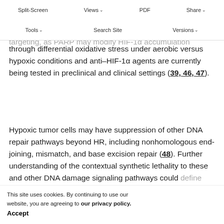Split-Screen | Views | PDF | Share | Tools | Search Site | Versions
to specifically-targeted recent clinical and basic research. PARP inhibitors had marked side effects (23, 34, 45). There may also be a role for combined PARP and HIF-1α–targeting, as PARP may modify HIF-1α accumulation through differential oxidative stress under aerobic versus hypoxic conditions and anti–HIF-1α agents are currently being tested in preclinical and clinical settings (39, 46, 47).
Hypoxic tumor cells may have suppression of other DNA repair pathways beyond HR, including nonhomologous end-joining, mismatch, and base excision repair (48). Further understanding of the contextual synthetic lethality to these and other DNA damage signaling pathways could define new approaches to individualized cancer therapy. This tumor has codependency to use efficiency in the mismatch repair (MMR) proteins MSH2 and Mlh1 are synthetically lethal with disruption of the DNA polymerases
This site uses cookies. By continuing to use our website, you are agreeing to our privacy policy. Accept